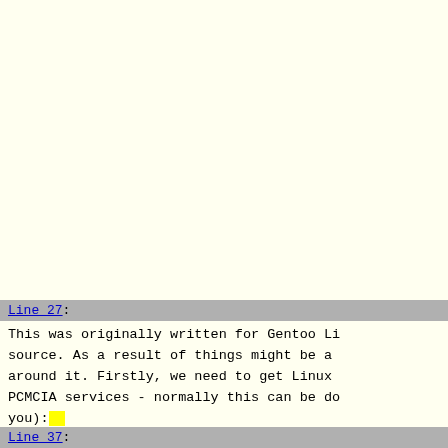Line 27:
This was originally written for Gentoo Li source. As a result of things might be a around it. Firstly, we need to get Linux PCMCIA services - normally this can be do you):
Line 37: